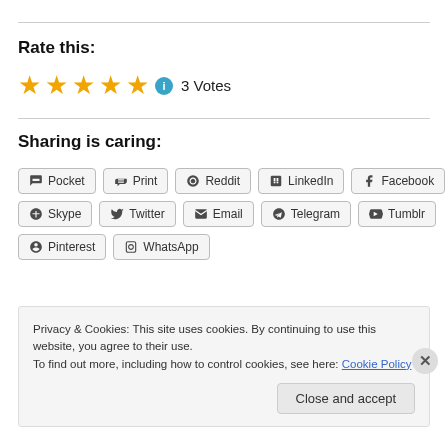Rate this:
⭐⭐⭐⭐⭐ ℹ 3 Votes
Sharing is caring:
Pocket
Print
Reddit
LinkedIn
Facebook
Skype
Twitter
Email
Telegram
Tumblr
Pinterest
WhatsApp
Privacy & Cookies: This site uses cookies. By continuing to use this website, you agree to their use. To find out more, including how to control cookies, see here: Cookie Policy